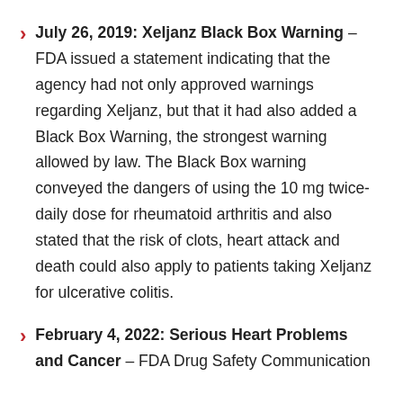July 26, 2019: Xeljanz Black Box Warning – FDA issued a statement indicating that the agency had not only approved warnings regarding Xeljanz, but that it had also added a Black Box Warning, the strongest warning allowed by law. The Black Box warning conveyed the dangers of using the 10 mg twice-daily dose for rheumatoid arthritis and also stated that the risk of clots, heart attack and death could also apply to patients taking Xeljanz for ulcerative colitis.
February 4, 2022: Serious Heart Problems and Cancer – FDA Drug Safety Communication